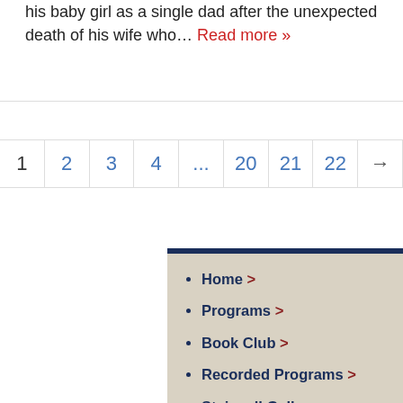his baby girl as a single dad after the unexpected death of his wife who… Read more »
1
2
3
4
...
20
21
22
→
Home >
Programs >
Book Club >
Recorded Programs >
Stairwell Gallery >
Home >